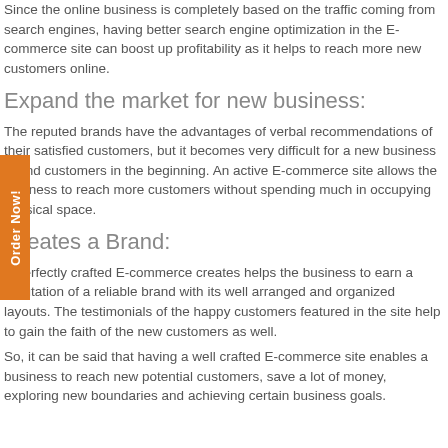Since the online business is completely based on the traffic coming from search engines, having better search engine optimization in the E-commerce site can boost up profitability as it helps to reach more new customers online.
Expand the market for new business:
The reputed brands have the advantages of verbal recommendations of their satisfied customers, but it becomes very difficult for a new business to find customers in the beginning. An active E-commerce site allows the business to reach more customers without spending much in occupying physical space.
Creates a Brand:
A perfectly crafted E-commerce creates helps the business to earn a reputation of a reliable brand with its well arranged and organized layouts. The testimonials of the happy customers featured in the site help to gain the faith of the new customers as well.
So, it can be said that having a well crafted E-commerce site enables a business to reach new potential customers, save a lot of money, exploring new boundaries and achieving certain business goals.